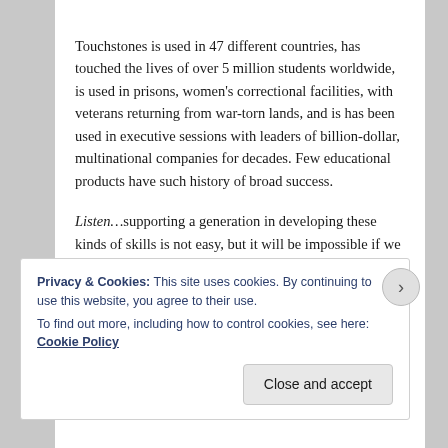Touchstones is used in 47 different countries, has touched the lives of over 5 million students worldwide, is used in prisons, women's correctional facilities, with veterans returning from war-torn lands, and is has been used in executive sessions with leaders of billion-dollar, multinational companies for decades. Few educational products have such history of broad success.
Listen…supporting a generation in developing these kinds of skills is not easy, but it will be impossible if we do not understand that teaching is, at its heart, a relational event, not merely a transactional one–ie. deep
Privacy & Cookies: This site uses cookies. By continuing to use this website, you agree to their use.
To find out more, including how to control cookies, see here: Cookie Policy